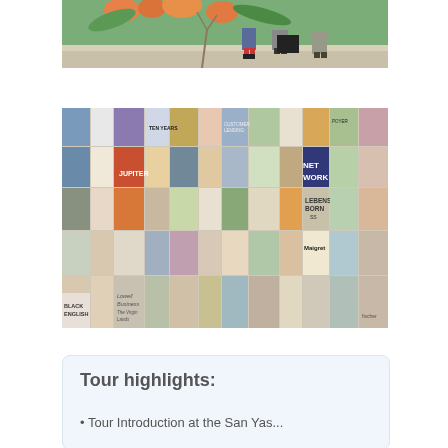[Figure (photo): People sitting in front of a colorful mural with flowers/leaves painted on a wall]
[Figure (photo): A wall covered with many colorful book covers displayed side by side, including titles like NET WORK, LEBENS BORN, Maigret, BLACK ENGLISH, and many others in various languages]
Tour highlights:
Tour Introduction at the San Yas...